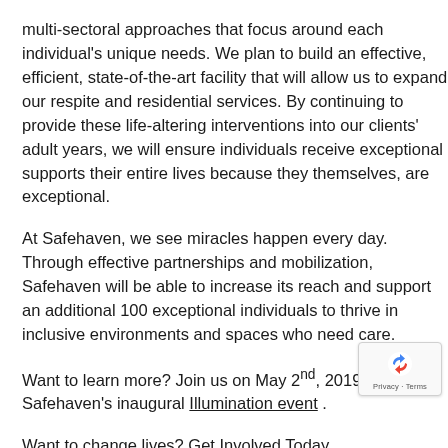multi-sectoral approaches that focus around each individual's unique needs. We plan to build an effective, efficient, state-of-the-art facility that will allow us to expand our respite and residential services. By continuing to provide these life-altering interventions into our clients' adult years, we will ensure individuals receive exceptional supports their entire lives because they themselves, are exceptional.
At Safehaven, we see miracles happen every day. Through effective partnerships and mobilization, Safehaven will be able to increase its reach and support an additional 100 exceptional individuals to thrive in inclusive environments and spaces who need care.
Want to learn more? Join us on May 2nd, 2019 at Safehaven's inaugural Illumination event .
Want to change lives? Get Involved Today.